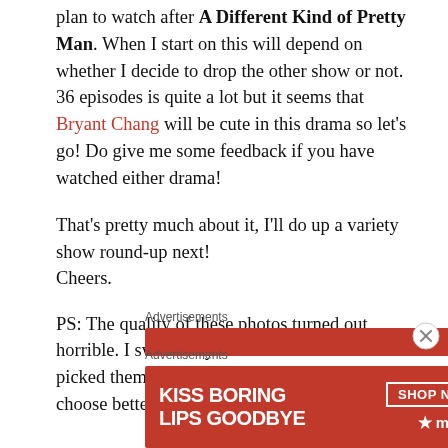plan to watch after A Different Kind of Pretty Man. When I start on this will depend on whether I decide to drop the other show or not. 36 episodes is quite a lot but it seems that Bryant Chang will be cute in this drama so let's go! Do give me some feedback if you have watched either drama!
That's pretty much about it, I'll do up a variety show round-up next!
Cheers.
PS: The quality of these photos turned out horrible. I swear they were better when I first picked them. Sorry about it and I promise to choose better photos the next time round.
[Figure (other): Advertisement banner: solid red rectangle]
[Figure (other): Advertisement banner: Macy's lipstick ad with text KISS BORING LIPS GOODBYE and SHOP NOW button and Macy's star logo on red background]